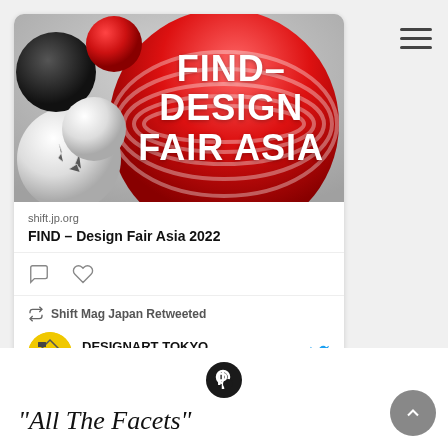[Figure (screenshot): Social media card showing FIND-DESIGN FAIR ASIA poster with 3D red, white, and black spheres/balls. Below: shift.jp.org link, title 'FIND – Design Fair Asia 2022', comment and heart icons. Below that: retweet section showing 'Shift Mag Japan Retweeted' with DESIGNART TOKYO... @DESIGNA... · Aug 10 tweet.]
[Figure (logo): Product Hunt logo (circle with P letter inside) — dark colored icon]
"All The Facets"